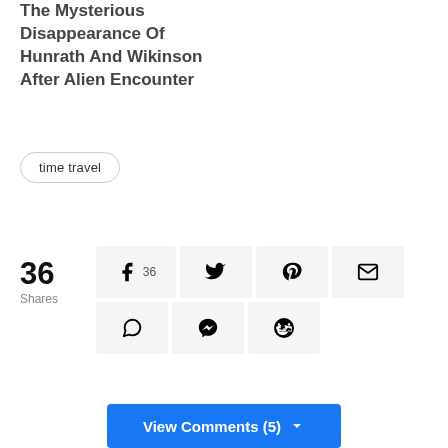The Mysterious Disappearance Of Hunrath And Wikinson After Alien Encounter
time travel
36 Shares
Social share buttons: Facebook (36), Twitter, Pinterest, Email, WhatsApp, Messenger, Reddit
View Comments (5)